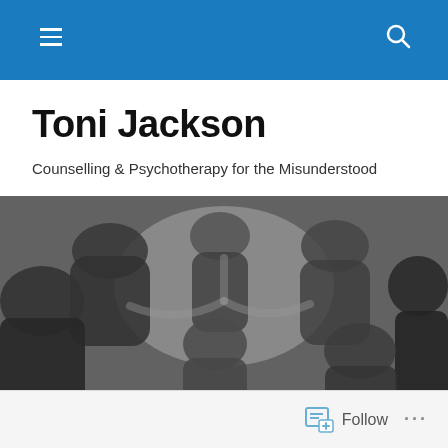Navigation header bar with hamburger menu and search icon
Toni Jackson
Counselling & Psychotherapy for the Misunderstood
[Figure (photo): Black and white photograph taken from below of a group of diverse people leaning inward to form a circle, looking down at the camera, some laughing and smiling.]
Follow ...